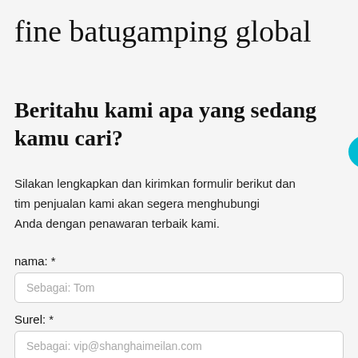fine batugamping global
Beritahu kami apa yang sedang kamu cari?
Silakan lengkapkan dan kirimkan formulir berikut dan tim penjualan kami akan segera menghubungi Anda dengan penawaran terbaik kami.
[Figure (screenshot): Live chat popup overlay: blue header with 'Have Questions or Need a Quote?' and an X close button, white body with a customer service agent photo and a blue 'CHAT NOW' button. A teal speech bubble with 'Live Chat' text appears to the right.]
nama: *
Sebagai: Tom
Surel: *
Sebagai: vip@shanghaimeilan.com